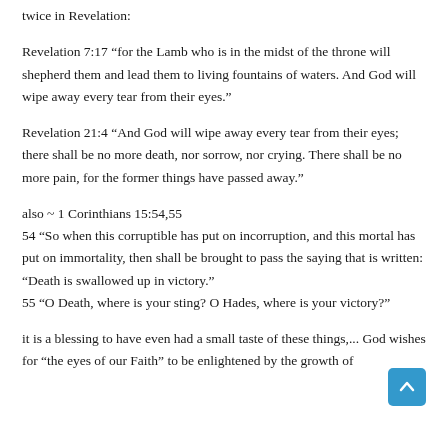twice in Revelation:
Revelation 7:17 “for the Lamb who is in the midst of the throne will shepherd them and lead them to living fountains of waters. And God will wipe away every tear from their eyes.”
Revelation 21:4 “And God will wipe away every tear from their eyes; there shall be no more death, nor sorrow, nor crying. There shall be no more pain, for the former things have passed away.”
also ~ 1 Corinthians 15:54,55
54 “So when this corruptible has put on incorruption, and this mortal has put on immortality, then shall be brought to pass the saying that is written: “Death is swallowed up in victory.”
55 “O Death, where is your sting? O Hades, where is your victory?”
it is a blessing to have even had a small taste of these things,... God wishes for “the eyes of our Faith” to be enlightened by the growth of